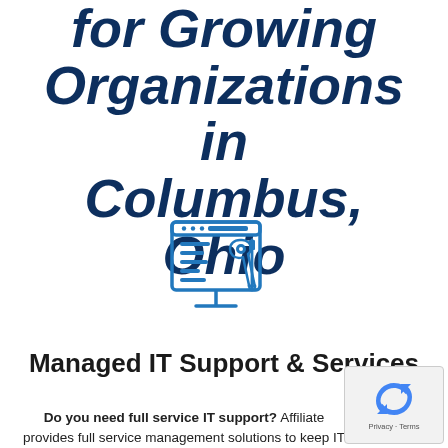for Growing Organizations in Columbus, Ohio
[Figure (illustration): Blue line-art icon of a computer monitor displaying a list/document with a wrench and screwdriver tools overlay, representing IT support services.]
Managed IT Support & Services
Do you need full service IT support? Affiliate provides full service management solutions to keep IT